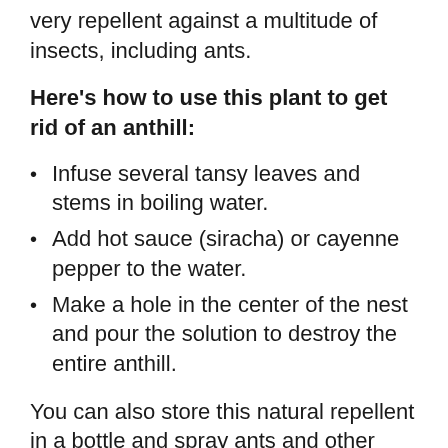very repellent against a multitude of insects, including ants.
Here's how to use this plant to get rid of an anthill:
Infuse several tansy leaves and stems in boiling water.
Add hot sauce (siracha) or cayenne pepper to the water.
Make a hole in the center of the nest and pour the solution to destroy the entire anthill.
You can also store this natural repellent in a bottle and spray ants and other pests around the house directly to kill them.